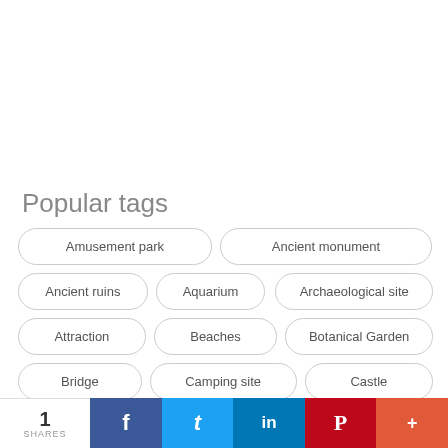Popular tags
Amusement park
Ancient monument
Ancient ruins
Aquarium
Archaeological site
Attraction
Beaches
Botanical Garden
Bridge
Camping site
Castle
Church
Cities
Cuisine
1 SHARES